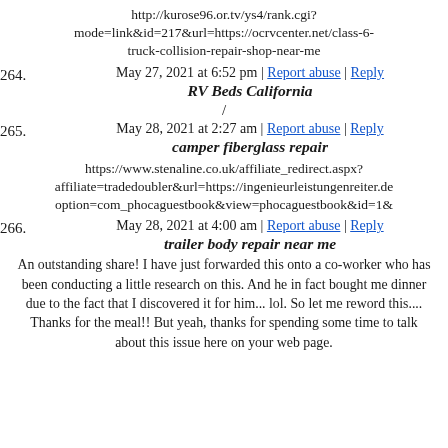http://kurose96.or.tv/ys4/rank.cgi?mode=link&id=217&url=https://ocrvcenter.net/class-6-truck-collision-repair-shop-near-me
May 27, 2021 at 6:52 pm | Report abuse | Reply
264. RV Beds California
/
May 28, 2021 at 2:27 am | Report abuse | Reply
265. camper fiberglass repair
https://www.stenaline.co.uk/affiliate_redirect.aspx?affiliate=tradedoubler&url=https://ingenieurleistungenreiter.de option=com_phocaguestbook&view=phocaguestbook&id=1&
May 28, 2021 at 4:00 am | Report abuse | Reply
266. trailer body repair near me
An outstanding share! I have just forwarded this onto a co-worker who has been conducting a little research on this. And he in fact bought me dinner due to the fact that I discovered it for him... lol. So let me reword this.... Thanks for the meal!! But yeah, thanks for spending some time to talk about this issue here on your web page.